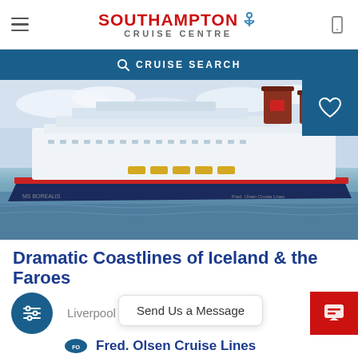SOUTHAMPTON CRUISE CENTRE
CRUISE SEARCH
[Figure (photo): A large Fred. Olsen cruise ship (Borealis) photographed side-on in harbour with blue sky and water]
Dramatic Coastlines of Iceland & the Faroes
Liverpool •
Send Us a Message
Fred. Olsen Cruise Lines